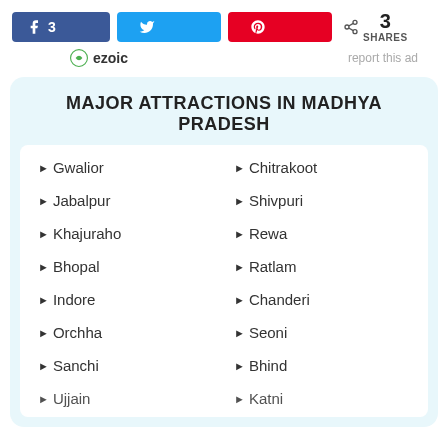[Figure (infographic): Social share buttons: Facebook (3), Twitter, Pinterest, and share count showing 3 SHARES]
[Figure (logo): ezoic logo with report this ad link]
MAJOR ATTRACTIONS IN MADHYA PRADESH
Gwalior
Chitrakoot
Jabalpur
Shivpuri
Khajuraho
Rewa
Bhopal
Ratlam
Indore
Chanderi
Orchha
Seoni
Sanchi
Bhind
Ujjain (partial)
Katni (partial)